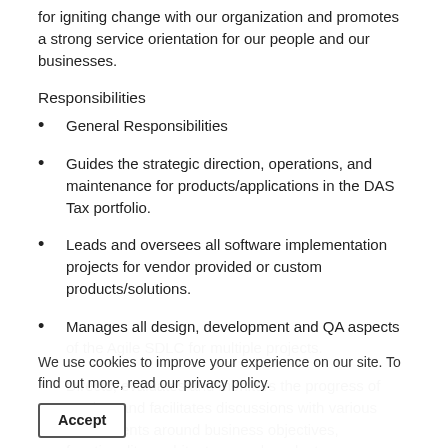for igniting change with our organization and promotes a strong service orientation for our people and our businesses.
Responsibilities
General Responsibilities
Guides the strategic direction, operations, and maintenance for products/applications in the DAS Tax portfolio.
Leads and oversees all software implementation projects for vendor provided or custom products/solutions.
Manages all design, development and QA aspects of the Agile SDLC for multiple projects.
Directs, evaluates and monitors the progress of product and facilitates discussions with various departments around business objectives, functionality, architecture, and product development.
Researches new and emerging market trends to evaluate the direction and longevity of product in the market.
Monitors compliance to standardized procedures and best practices:
Identifies need for new policies and processes and presents to